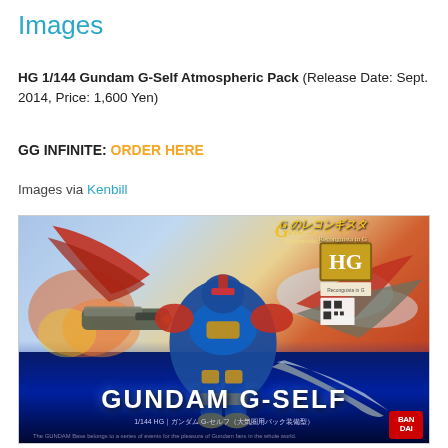Images
HG 1/144 Gundam G-Self Atmospheric Pack (Release Date: Sept. 2014, Price: 1,600 Yen)
GG INFINITE: ORDER HERE
Images via Kenbill
[Figure (photo): Product box art for HG 1/144 Gundam G-Self Atmospheric Pack model kit, showing the blue and red Gundam G-Self mecha robot in a dynamic pose with wings and weapons, 'GUNDAM G-SELF' text at the bottom, HG badge and G no Reconguista logo in the top right corner, Bandai logo bottom right.]